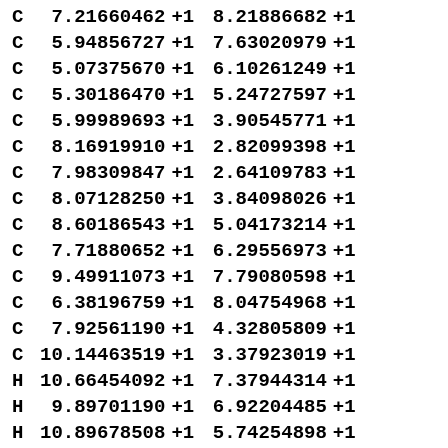| Atom | X | S1 | Y | S2 |
| --- | --- | --- | --- | --- |
| C | 7.21660462 | +1 | 8.21886682 | +1 |
| C | 5.94856727 | +1 | 7.63020979 | +1 |
| C | 5.07375670 | +1 | 6.10261249 | +1 |
| C | 5.30186470 | +1 | 5.24727597 | +1 |
| C | 5.99989693 | +1 | 3.90545771 | +1 |
| C | 8.16919910 | +1 | 2.82099398 | +1 |
| C | 7.98309847 | +1 | 2.64109783 | +1 |
| C | 8.07128250 | +1 | 3.84098026 | +1 |
| C | 8.60186543 | +1 | 5.04173214 | +1 |
| C | 7.71880652 | +1 | 6.29556973 | +1 |
| C | 9.49911073 | +1 | 7.79080598 | +1 |
| C | 6.38196759 | +1 | 8.04754968 | +1 |
| C | 7.92561190 | +1 | 4.32805809 | +1 |
| C | 10.14463519 | +1 | 3.37923019 | +1 |
| H | 10.66454092 | +1 | 7.37944314 | +1 |
| H | 9.89701190 | +1 | 6.92204485 | +1 |
| H | 10.89678508 | +1 | 5.74254898 | +1 |
| H | 7.05329393 | +1 | -3.90505647 | +1 |
| H | 7.38348720 | +1 | -5.49527040 | +1 |
| H | -0.18213230 | +1 | 7.46387332 | +1 |